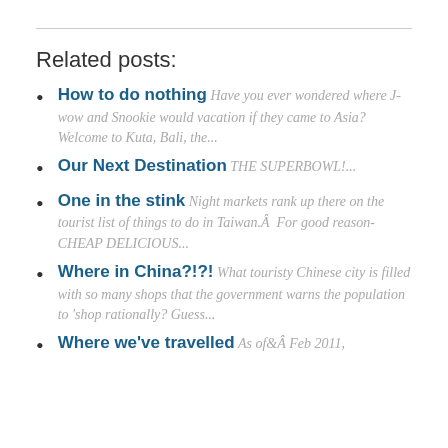Related posts:
How to do nothing Have you ever wondered where J-wow and Snookie would vacation if they came to Asia? Welcome to Kuta, Bali, the...
Our Next Destination THE SUPERBOWL!...
One in the stink Night markets rank up there on the tourist list of things to do in Taiwan.Â  For good reason- CHEAP DELICIOUS...
Where in China?!?! What touristy Chinese city is filled with so many shops that the government warns the population to 'shop rationally? Guess...
Where we've travelled As of Feb 2011,